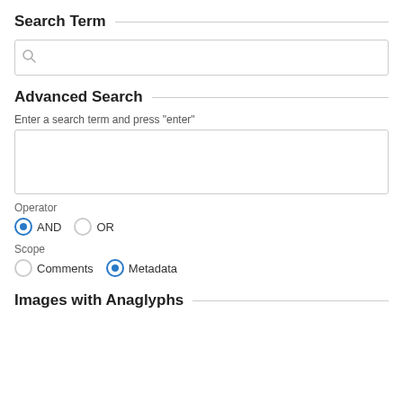Search Term
[Figure (screenshot): Search input box with magnifying glass icon]
Advanced Search
Enter a search term and press "enter"
[Figure (screenshot): Multi-line text area input box]
Operator
AND  OR
Scope
Comments  Metadata
Images with Anaglyphs